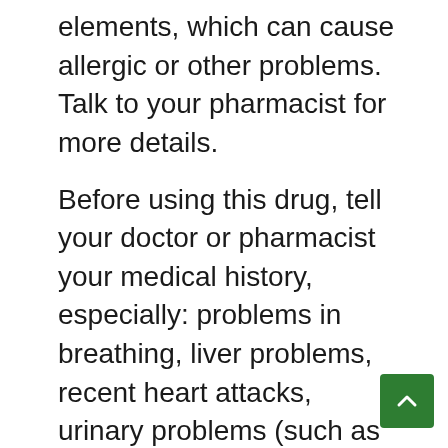elements, which can cause allergic or other problems. Talk to your pharmacist for more details.
Before using this drug, tell your doctor or pharmacist your medical history, especially: problems in breathing, liver problems, recent heart attacks, urinary problems (such as increased prostate) Individual or family history of hyperthyroidism, hyperthyroidism, glaucoma, personal or family history (angular type), mental / mood conditions, personal or family history (e.g Bipolar disorder, psychosis), family history of suicide, visits, situations that can increase your risk of stroke (like other brain diseases, alcohol canal).